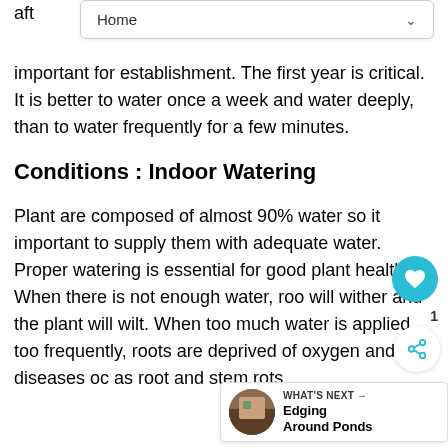Home
aft important for establishment. The first year is critical. It is better to water once a week and water deeply, than to water frequently for a few minutes.
Conditions : Indoor Watering
Plant are composed of almost 90% water so it important to supply them with adequate water. Proper watering is essential for good plant health. When there is not enough water, roo will wither and the plant will wilt. When too much water is applied too frequently, roots are deprived of oxygen and diseases oc as root and stem rots.